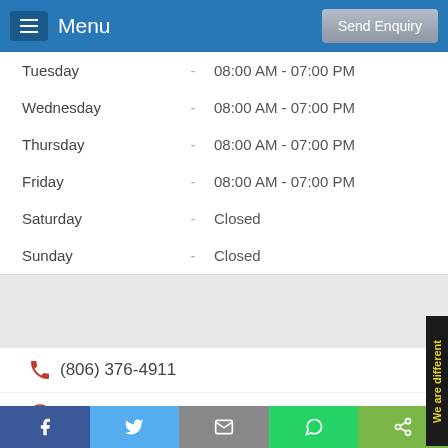Menu | Send Enquiry
| Day |  | Hours |
| --- | --- | --- |
| Tuesday | - | 08:00 AM - 07:00 PM |
| Wednesday | - | 08:00 AM - 07:00 PM |
| Thursday | - | 08:00 AM - 07:00 PM |
| Friday | - | 08:00 AM - 07:00 PM |
| Saturday | - | Closed |
| Sunday | - | Closed |
(806) 376-4911
valerie cantrell
1900 Interstate 40 Access Rd, Amarillo, TX 79103
Visit Website
Facebook | Twitter | Email | WhatsApp | Share